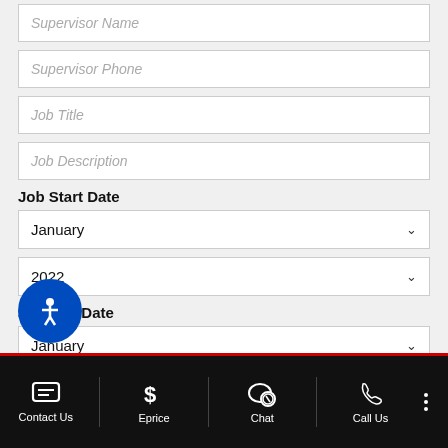Supervisor Name
Supervisor Phone
Job Title
Job Description
Job Start Date
January
2022
Job End Date
January
22
Contact Us | Eprice | Chat | Call Us